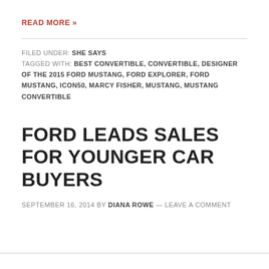READ MORE »
FILED UNDER: SHE SAYS
TAGGED WITH: BEST CONVERTIBLE, CONVERTIBLE, DESIGNER OF THE 2015 FORD MUSTANG, FORD EXPLORER, FORD MUSTANG, ICON50, MARCY FISHER, MUSTANG, MUSTANG CONVERTIBLE
FORD LEADS SALES FOR YOUNGER CAR BUYERS
SEPTEMBER 16, 2014 BY DIANA ROWE — LEAVE A COMMENT